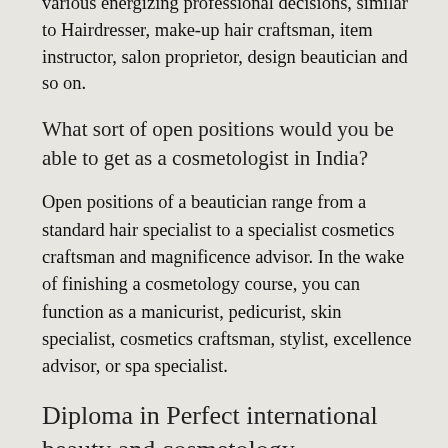various energizing professional decisions, similar to Hairdresser, make-up hair craftsman, item instructor, salon proprietor, design beautician and so on.
What sort of open positions would you be able to get as a cosmetologist in India?
Open positions of a beautician range from a standard hair specialist to a specialist cosmetics craftsman and magnificence advisor. In the wake of finishing a cosmetology course, you can function as a manicurist, pedicurist, skin specialist, cosmetics craftsman, stylist, excellence advisor, or spa specialist.
Diploma in Perfect international beauty and cosmetology
A Diploma in Cosmetology is the best cosmetology course to choose if you are a fresher and just taking